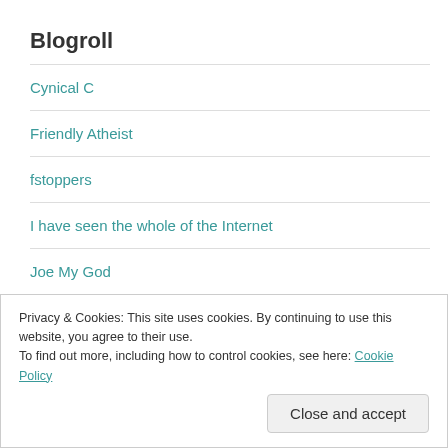Blogroll
Cynical C
Friendly Atheist
fstoppers
I have seen the whole of the Internet
Joe My God
Privacy & Cookies: This site uses cookies. By continuing to use this website, you agree to their use.
To find out more, including how to control cookies, see here: Cookie Policy
Close and accept